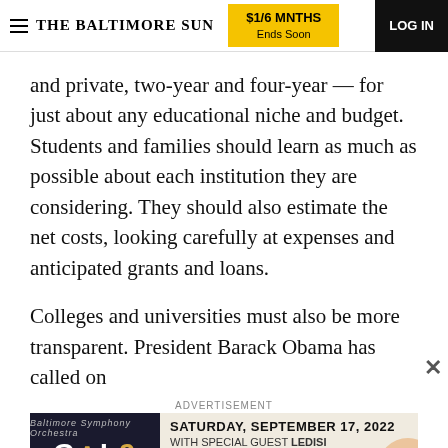THE BALTIMORE SUN | $1/6 MNTHS Ends Soon | LOG IN
and private, two-year and four-year — for just about any educational niche and budget. Students and families should learn as much as possible about each institution they are considering. They should also estimate the net costs, looking carefully at expenses and anticipated grants and loans.
Colleges and universities must also be more transparent. President Barack Obama has called on
ADVERTISEMENT
[Figure (infographic): Baltimore Symphony Orchestra Gala advertisement banner. Shows 'GALA' text on dark background on left, and 'SATURDAY, SEPTEMBER 17, 2022 WITH SPECIAL GUEST LEDISI TICKETS AT BSOMUSIC.ORG' text on right.]